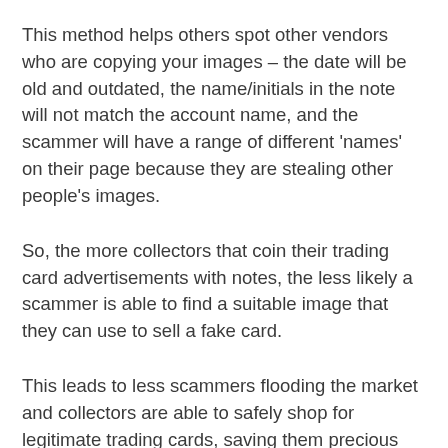This method helps others spot other vendors who are copying your images – the date will be old and outdated, the name/initials in the note will not match the account name, and the scammer will have a range of different 'names' on their page because they are stealing other people's images.
So, the more collectors that coin their trading card advertisements with notes, the less likely a scammer is able to find a suitable image that they can use to sell a fake card.
This leads to less scammers flooding the market and collectors are able to safely shop for legitimate trading cards, saving them precious time and money.